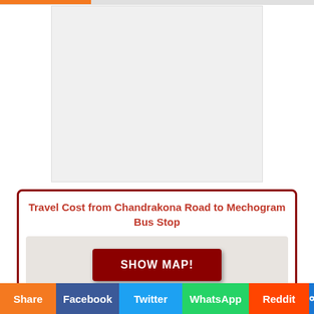[Figure (other): Advertisement placeholder area, light gray rectangle]
Travel Cost from Chandrakona Road to Mechogram Bus Stop
[Figure (other): Map display area with SHOW MAP! button on dark red background]
Share | Facebook | Twitter | WhatsApp | Reddit